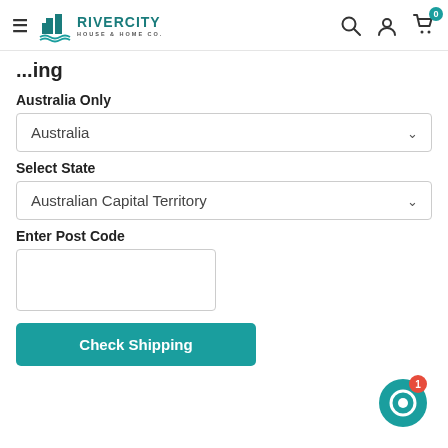River City House & Home Co. — navigation header with logo, search, account, and cart (0 items)
Shipping
Australia Only
Australia (dropdown)
Select State
Australian Capital Territory (dropdown)
Enter Post Code
Check Shipping (button)